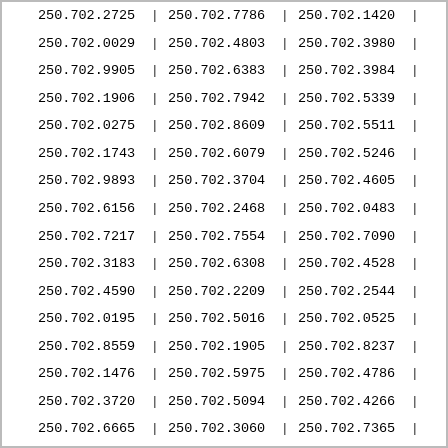| 250.702.2725 | | | 250.702.7786 | | | 250.702.1420 | | |
| 250.702.0029 | | | 250.702.4803 | | | 250.702.3980 | | |
| 250.702.9905 | | | 250.702.6383 | | | 250.702.3984 | | |
| 250.702.1906 | | | 250.702.7942 | | | 250.702.5339 | | |
| 250.702.0275 | | | 250.702.8609 | | | 250.702.5511 | | |
| 250.702.1743 | | | 250.702.6079 | | | 250.702.5246 | | |
| 250.702.9893 | | | 250.702.3704 | | | 250.702.4605 | | |
| 250.702.6156 | | | 250.702.2468 | | | 250.702.0483 | | |
| 250.702.7217 | | | 250.702.7554 | | | 250.702.7090 | | |
| 250.702.3183 | | | 250.702.6308 | | | 250.702.4528 | | |
| 250.702.4590 | | | 250.702.2209 | | | 250.702.2544 | | |
| 250.702.0195 | | | 250.702.5016 | | | 250.702.0525 | | |
| 250.702.8559 | | | 250.702.1905 | | | 250.702.8237 | | |
| 250.702.1476 | | | 250.702.5975 | | | 250.702.4786 | | |
| 250.702.3720 | | | 250.702.5094 | | | 250.702.4266 | | |
| 250.702.6665 | | | 250.702.3060 | | | 250.702.7365 | | |
| 250.702.5099 | | | 250.702.4142 | | | 250.702.7150 | | |
| 250.702.1432 | | | 250.702.0805 | | | 250.702.9099 | | |
| 250.702.6637 | | | 250.702.1043 | | | 250.702.6417 | | |